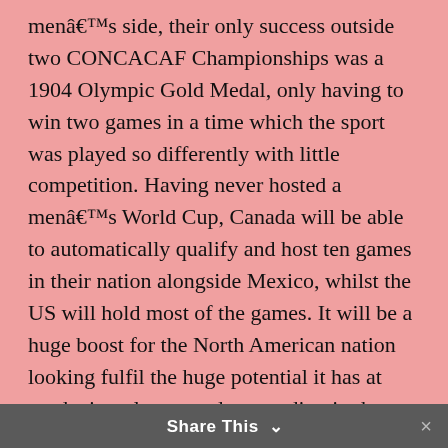men's side, their only success outside two CONCACAF Championships was a 1904 Olympic Gold Medal, only having to win two games in a time which the sport was played so differently with little competition. Having never hosted a men's World Cup, Canada will be able to automatically qualify and host ten games in their nation alongside Mexico, whilst the US will hold most of the games. It will be a huge boost for the North American nation looking fulfil the huge potential it has at producing players and succeeding in the sport. When that time comes, it will be exactly 40 years on from when Canada first made people take notice of the sport when they qualified for Mexico '86.

After two terrible years of friendly matches in 1983 and 1984, which saw the Canadian national team win just one of 13 games, a host of fixtures were arranged in
Share This ∨  ×